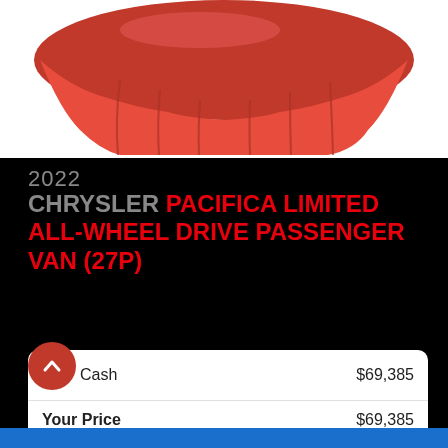[Figure (photo): Red car covered with red fabric/cloth drape on white background]
2022
CHRYSLER PACIFICA LIMITED ALL-WHEEL DRIVE PASSENGER VAN (27P)
| Cash | $69,385 |
| Your Price | $69,385 |
| Finance | $398 / bw |
Price does not include taxes and licensing fees.